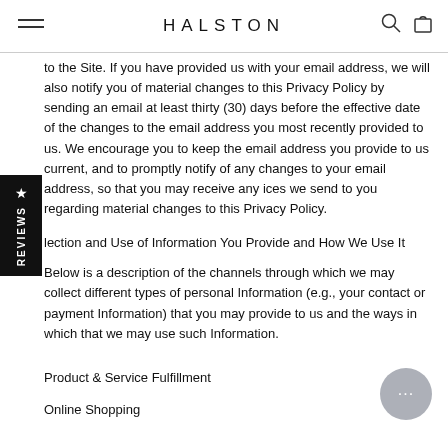HALSTON
to the Site. If you have provided us with your email address, we will also notify you of material changes to this Privacy Policy by sending an email at least thirty (30) days before the effective date of the changes to the email address you most recently provided to us. We encourage you to keep the email address you provide to us current, and to promptly notify of any changes to your email address, so that you may receive any ices we send to you regarding material changes to this Privacy Policy.
lection and Use of Information You Provide and How We Use It
Below is a description of the channels through which we may collect different types of personal Information (e.g., your contact or payment Information) that you may provide to us and the ways in which that we may use such Information.
Product & Service Fulfillment
Online Shopping